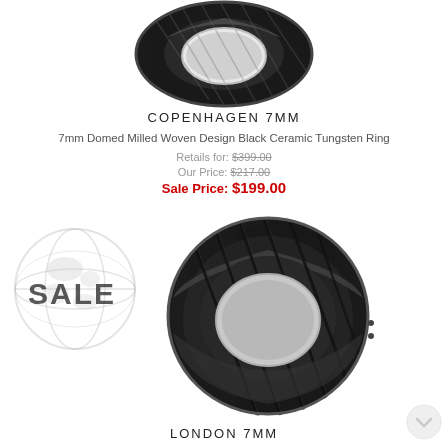[Figure (photo): Black ceramic tungsten ring (Copenhagen 7MM) viewed from above/front, showing domed milled woven design]
COPENHAGEN 7MM
7mm Domed Milled Woven Design Black Ceramic Tungsten Ring
Retails for: $399.00
Our Price: $217.00
Sale Price: $199.00
[Figure (logo): Globe watermark with SALE text overlay]
[Figure (photo): Black ceramic beveled edge tungsten ring (London 7MM) with diagonal milled center grooves]
LONDON 7MM
7mm Raised Center Milled Black Ceramic Beveled Edge Tungsten Ring